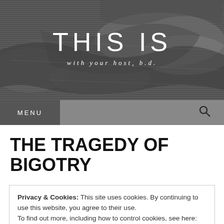THIS IS
with your host, b.d.
THE TRAGEDY OF BIGOTRY
Privacy & Cookies: This site uses cookies. By continuing to use this website, you agree to their use.
To find out more, including how to control cookies, see here: Cookie Policy
Close and accept